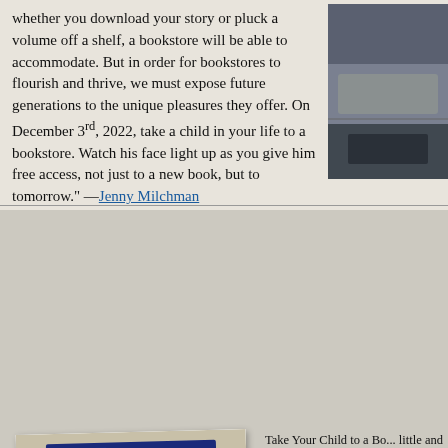whether you download your story or pluck a volume off a shelf, a bookstore will be able to accommodate. But in order for bookstores to flourish and thrive, we must expose future generations to the unique pleasures they offer. On December 3rd, 2022, take a child in your life to a bookstore. Watch his face light up as you give him free access, not just to a new book, but to tomorrow." —Jenny Milchman
[Figure (photo): Partial photo of a bookstore or car exterior, cropped on right side of page]
[Figure (photo): Interior of a bookstore showing a blue-framed door/entrance with bookshelves visible inside]
Take Your Child to a Bo... little and I was going to... Did all children know t... I wondered. Of being d... being left to choose tre... holiday that would exp...
But Take Your Child to ... one mother and her ch... across the web, carried... and my family to local ... last summer.
[Figure (photo): Child browsing books at a low bookshelf in a bookstore]